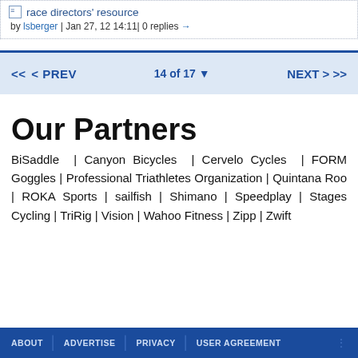race directors' resource by lsberger | Jan 27, 12 14:11 | 0 replies →
< < < PREV   14 of 17 ∨   NEXT > >>
Our Partners
BiSaddle | Canyon Bicycles | Cervelo Cycles | FORM Goggles | Professional Triathletes Organization | Quintana Roo | ROKA Sports | sailfish | Shimano | Speedplay | Stages Cycling | TriRig | Vision | Wahoo Fitness | Zipp | Zwift
ABOUT | ADVERTISE | PRIVACY | USER AGREEMENT